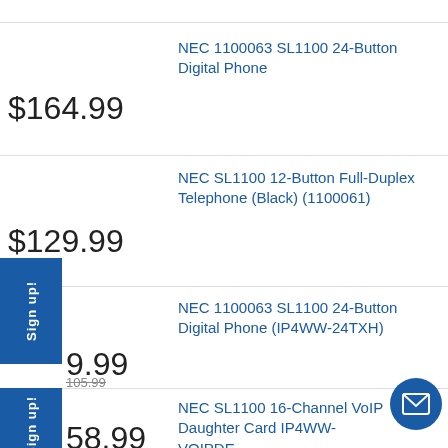NEC 1100063 SL1100 24-Button Digital Phone
$164.99
NEC SL1100 12-Button Full-Duplex Telephone (Black) (1100061)
$129.99
NEC 1100063 SL1100 24-Button Digital Phone (IP4WW-24TXH)
$9.99
NEC SL1100 16-Channel VoIP Daughter Card IP4WW-VOIPDB
$58.99